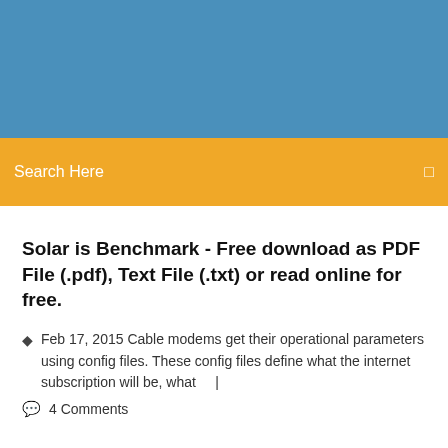[Figure (other): Blue header background area]
Search Here
Solar is Benchmark - Free download as PDF File (.pdf), Text File (.txt) or read online for free.
Feb 17, 2015 Cable modems get their operational parameters using config files. These config files define what the internet subscription will be, what    |
4 Comments